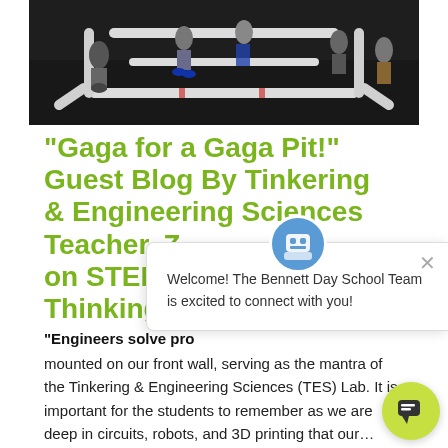[Figure (photo): Children standing around a large octagonal Gaga pit made from white PVC pipes on a dark floor.]
"Gaga for a Gaga Pit!" Guest Blog By Tinkering & Engineering Sciences Teacher, Z... on STEM & ... Thinking
"Engineers solve pro...
mounted on our front wall, serving as the mantra of the Tinkering & Engineering Sciences (TES) Lab. It is important for the students to remember as we are deep in circuits, robots, and 3D printing that our…